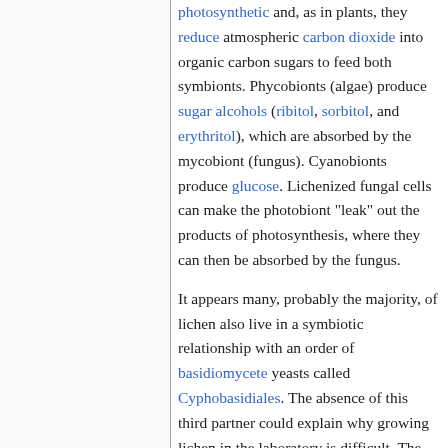photosynthetic and, as in plants, they reduce atmospheric carbon dioxide into organic carbon sugars to feed both symbionts. Phycobionts (algae) produce sugar alcohols (ribitol, sorbitol, and erythritol), which are absorbed by the mycobiont (fungus). Cyanobionts produce glucose. Lichenized fungal cells can make the photobiont "leak" out the products of photosynthesis, where they can then be absorbed by the fungus.
It appears many, probably the majority, of lichen also live in a symbiotic relationship with an order of basidiomycete yeasts called Cyphobasidiales. The absence of this third partner could explain why growing lichen in the laboratory is difficult. The yeast cells are responsible for the formation of the characteristic cortex of